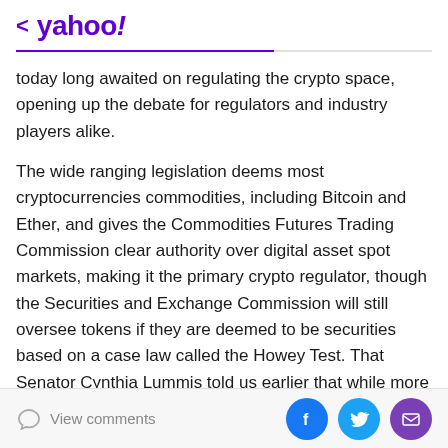< yahoo!
today long awaited on regulating the crypto space, opening up the debate for regulators and industry players alike.
The wide ranging legislation deems most cryptocurrencies commodities, including Bitcoin and Ether, and gives the Commodities Futures Trading Commission clear authority over digital asset spot markets, making it the primary crypto regulator, though the Securities and Exchange Commission will still oversee tokens if they are deemed to be securities based on a case law called the Howey Test. That Senator Cynthia Lummis told us earlier that while more
View comments